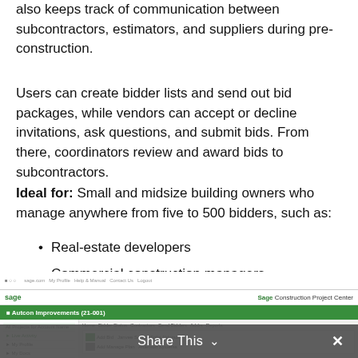also keeps track of communication between subcontractors, estimators, and suppliers during pre-construction.
Users can create bidder lists and send out bid packages, while vendors can accept or decline invitations, ask questions, and submit bids. From there, coordinators review and award bids to subcontractors.
Ideal for: Small and midsize building owners who manage anywhere from five to 500 bidders, such as:
Real-estate developers
Commercial construction managers
General contractors
[Figure (screenshot): Screenshot of Sage Construction Project Center software interface showing project management UI with sidebar navigation, project listing for 'Autcon Improvements (21-001)', green navigation bar, and a Share This overlay bar at the bottom.]